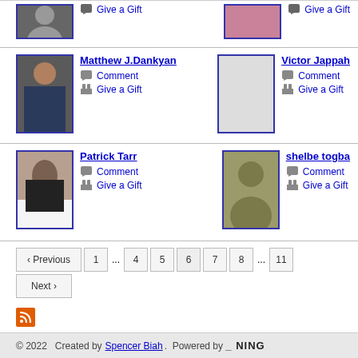[Figure (photo): Profile photo of person in military uniform (top-left, partially cut off)]
Give a Gift
[Figure (photo): Profile photo of person in pink/purple top (top-right, partially cut off)]
Give a Gift
[Figure (photo): Photo of Matthew J. Dankyan in military dress uniform]
Matthew J.Dankyan
Comment
Give a Gift
[Figure (photo): Blank/empty profile placeholder for Victor Jappah]
Victor Jappah
Comment
Give a Gift
[Figure (photo): Photo of Patrick Tarr]
Patrick Tarr
Comment
Give a Gift
[Figure (photo): Silhouette placeholder for shelbe togba]
shelbe togba
Comment
Give a Gift
‹ Previous  1  ...  4  5  6  7  8  ...  11  Next ›
© 2022   Created by Spencer Biah.  Powered by  NING